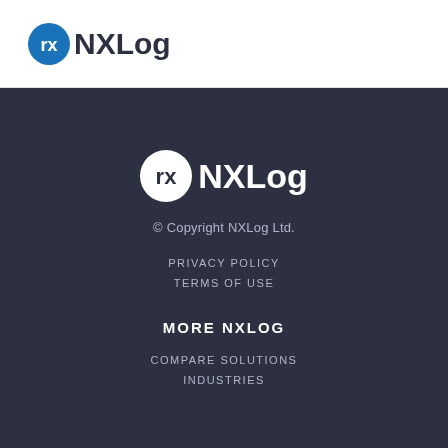[Figure (logo): NXLog logo in header: blue circle icon with 'rx' text and bold 'NXLog' wordmark in dark color]
[Figure (logo): NXLog logo in footer: white circle icon with 'rx' text and white bold 'NXLog' wordmark on dark background]
© Copyright NXLog Ltd.
PRIVACY POLICY
TERMS OF USE
MORE NXLOG
COMPARE SOLUTIONS
INDUSTRIES